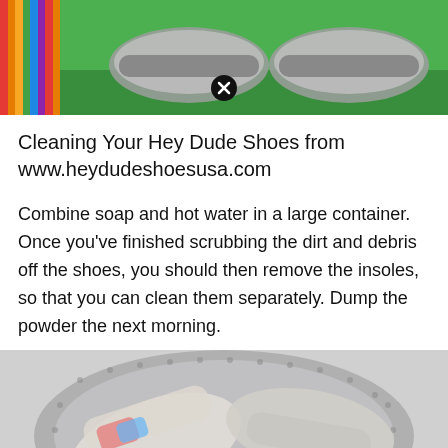[Figure (photo): Top portion of a photo showing Hey Dude shoes on green grass, with rainbow colored straps on the left side and a close/X button overlay at the bottom center]
Cleaning Your Hey Dude Shoes from www.heydudeshoesusa.com
Combine soap and hot water in a large container. Once you've finished scrubbing the dirt and debris off the shoes, you should then remove the insoles, so that you can clean them separately. Dump the powder the next morning.
[Figure (photo): Photo of shoes inside a top-loading washing machine drum, seen from above, with a close/X button overlay at the bottom center]